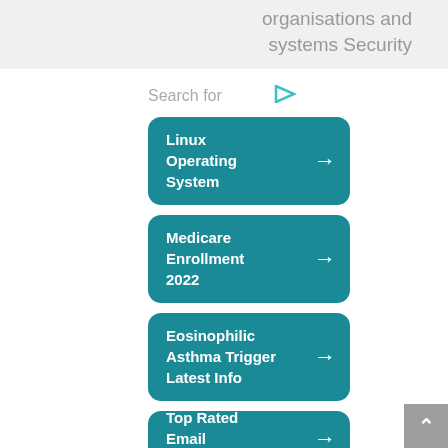organisations and systems Security
Search for
Linux Operating System →
Medicare Enrollment 2022 →
Eosinophilic Asthma Trigger Latest Info →
Top Rated Email Marketing →